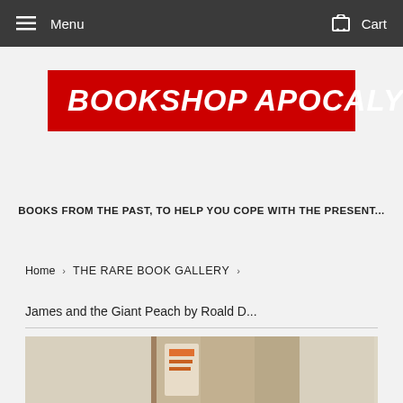Menu   Cart
[Figure (logo): Bookshop Apocalypse red logo with italic white bold text on red background]
BOOKS FROM THE PAST, TO HELP YOU COPE WITH THE PRESENT...
Home › THE RARE BOOK GALLERY ›
James and the Giant Peach by Roald D...
[Figure (photo): Partial book cover image of James and the Giant Peach]